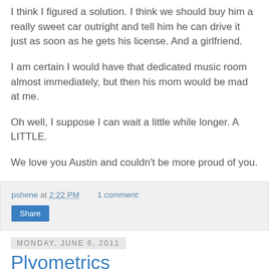I think I figured a solution. I think we should buy him a really sweet car outright and tell him he can drive it just as soon as he gets his license. And a girlfriend.
I am certain I would have that dedicated music room almost immediately, but then his mom would be mad at me.
Oh well, I suppose I can wait a little while longer. A LITTLE.
We love you Austin and couldn't be more proud of you.
pshene at 2:22 PM    1 comment:   Share
Monday, June 6, 2011
Plyometrics
[Figure (photo): Black and white photo of a person, partially visible at bottom of page]